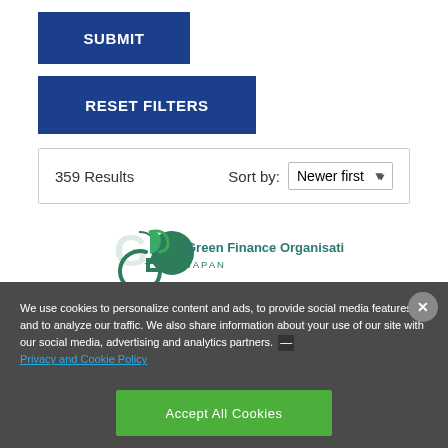SUBMIT
RESET FILTERS
359 Results  Sort by: Newer first
[Figure (logo): Green Finance Organisation Japan logo — circular G symbol in dark green, beside text 'Green Finance Organisation JAPAN' in teal/green.]
We use cookies to personalize content and ads, to provide social media features and to analyze our traffic. We also share information about your use of our site with our social media, advertising and analytics partners. — Privacy and Cookie Policy
Accept All Cookies